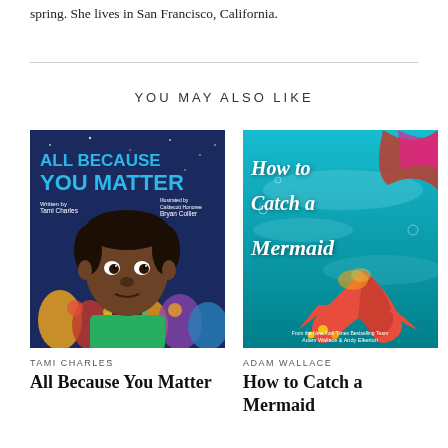spring. She lives in San Francisco, California.
YOU MAY ALSO LIKE
[Figure (illustration): Book cover of 'All Because You Matter' by Tami Charles, illustrated by Bryan Collier. A young Black boy's face is centered against a dark night sky background with colorful flowers and foliage at the bottom. Bold blue text reads 'ALL BECAUSE YOU MATTER' at the top.]
TAMI CHARLES
All Because You Matter
[Figure (illustration): Book cover of 'How to Catch a Mermaid' by Adam Wallace and Andy Elkerton. A mermaid with pink/red tail and magenta hair swims in a teal ocean. White italic text reads 'How to Catch a Mermaid'. Small text at bottom reads 'From the New York Times Bestselling Team Adam Wallace & Andy Elkerton'.]
ADAM WALLACE
How to Catch a Mermaid